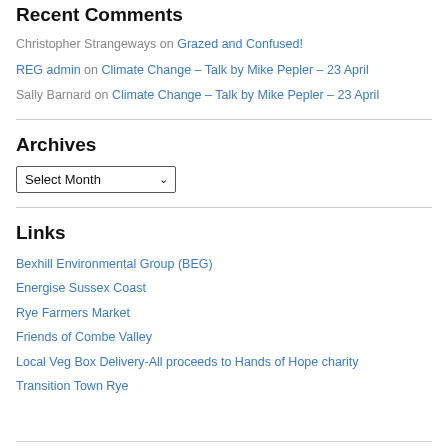Recent Comments
Christopher Strangeways on Grazed and Confused!
REG admin on Climate Change – Talk by Mike Pepler – 23 April
Sally Barnard on Climate Change – Talk by Mike Pepler – 23 April
Archives
Select Month (dropdown)
Links
Bexhill Environmental Group (BEG)
Energise Sussex Coast
Rye Farmers Market
Friends of Combe Valley
Local Veg Box Delivery-All proceeds to Hands of Hope charity
Transition Town Rye